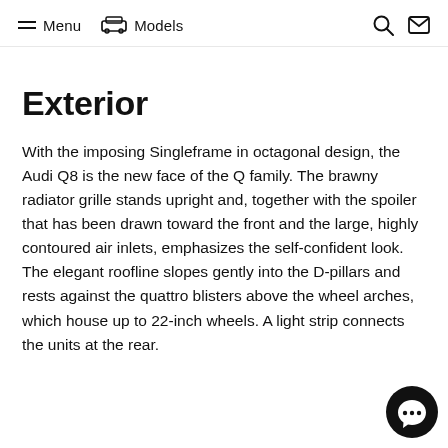Menu  Models
Exterior
With the imposing Singleframe in octagonal design, the Audi Q8 is the new face of the Q family. The brawny radiator grille stands upright and, together with the spoiler that has been drawn toward the front and the large, highly contoured air inlets, emphasizes the self-confident look. The elegant roofline slopes gently into the D-pillars and rests against the quattro blisters above the wheel arches, which house up to 22-inch wheels. A light strip connects the units at the rear.